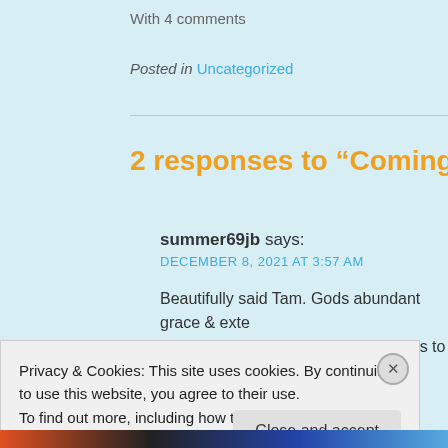With 4 comments
Posted in Uncategorized
2 responses to “Coming ho…
summer69jb says:
DECEMBER 8, 2021 AT 3:57 AM
Beautifully said Tam. Gods abundant grace & exte... at times. But He always desires for us to draw nea...
Privacy & Cookies: This site uses cookies. By continuing to use this website, you agree to their use.
To find out more, including how to control cookies, see here: Cookie Policy